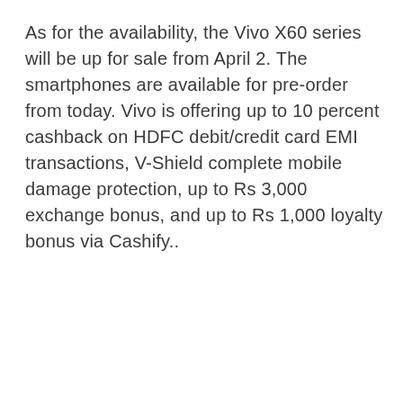As for the availability, the Vivo X60 series will be up for sale from April 2. The smartphones are available for pre-order from today. Vivo is offering up to 10 percent cashback on HDFC debit/credit card EMI transactions, V-Shield complete mobile damage protection, up to Rs 3,000 exchange bonus, and up to Rs 1,000 loyalty bonus via Cashify..